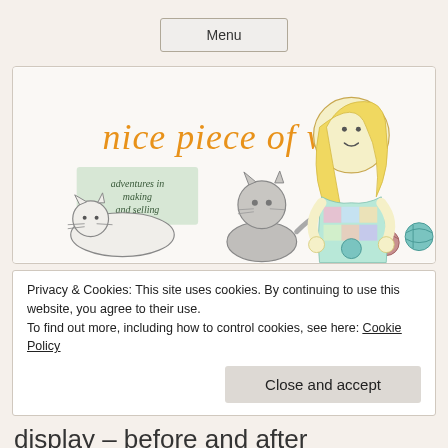Menu
[Figure (illustration): Blog header illustration for 'nice piece of work — adventures in making and selling'. Shows two cartoon cats (one white lying down, one grey sitting), a girl with blonde hair knitting/crocheting, yarn balls in various colours, and handwritten-style text. Orange cursive title text reads 'nice piece of work'. Green label reads 'adventures in making and selling'.]
Privacy & Cookies: This site uses cookies. By continuing to use this website, you agree to their use.
To find out more, including how to control cookies, see here: Cookie Policy
Close and accept
display – before and after